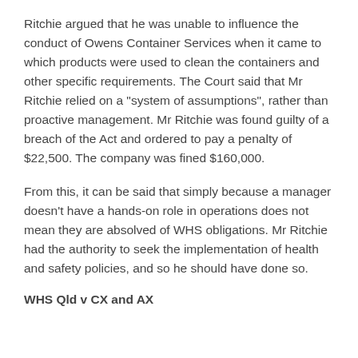Ritchie argued that he was unable to influence the conduct of Owens Container Services when it came to which products were used to clean the containers and other specific requirements. The Court said that Mr Ritchie relied on a "system of assumptions", rather than proactive management. Mr Ritchie was found guilty of a breach of the Act and ordered to pay a penalty of $22,500. The company was fined $160,000.
From this, it can be said that simply because a manager doesn't have a hands-on role in operations does not mean they are absolved of WHS obligations. Mr Ritchie had the authority to seek the implementation of health and safety policies, and so he should have done so.
WHS Qld v CX and AX